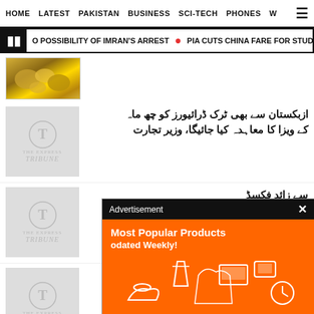HOME  LATEST  PAKISTAN  BUSINESS  SCI-TECH  PHONES  W  ☰
O POSSIBILITY OF IMRAN'S ARREST  ● PIA CUTS CHINA FARE FOR STUDENTS  ●  P
[Figure (photo): Gold jewelry/coins image thumbnail]
ازبکستان سے بھی ٹرک ڈرائیورز کو چھ ماہ کے ویزا کا معاہدہ کیا جائیگا، وزیر تجارت
سے زائد فکسڈ حقیقات کا حکم
لر، پاؤنڈ، یورو، ریال کی قدر میں کمی
[Figure (screenshot): Advertisement overlay: Most Popular Products updated Weekly! on orange background with shopping icons]